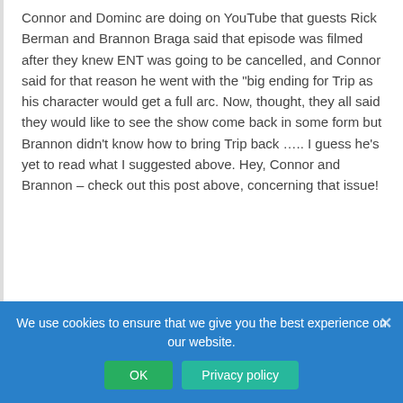Connor and Dominc are doing on YouTube that guests Rick Berman and Brannon Braga said that episode was filmed after they knew ENT was going to be cancelled, and Connor said for that reason he went with the "big ending for Trip as his character would get a full arc. Now, thought, they all said they would like to see the show come back in some form but Brannon didn't know how to bring Trip back ….. I guess he's yet to read what I suggested above. Hey, Connor and Brannon – check out this post above, concerning that issue!
Tiger2
Reply to Rhett Coates
June 18, 2022 1:37 pm
I get their viewpoint but still killing Trip out of all people is as such a horrible, oh too mistake. And these two should know that just because a Star Trek show gets cancelled doesn't mean we can never see the characters again. The characters from TOS already
We use cookies to ensure that we give you the best experience on our website.
OK
Privacy policy